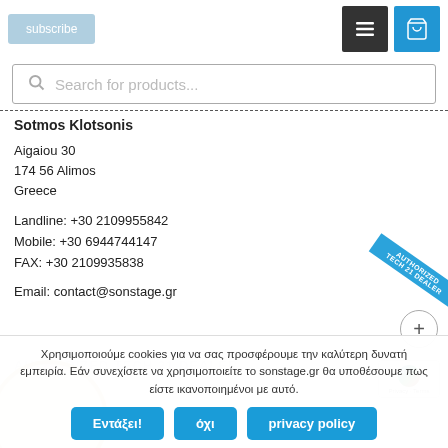[Figure (screenshot): Subscribe button (light blue), hamburger menu icon (dark), shopping cart icon (blue)]
[Figure (screenshot): Search bar with placeholder text 'Search for products...']
Sotmos Klotsonis
Aigaiou 30
174 56 Alimos
Greece
Landline: +30 2109955842
Mobile: +30 6944744147
FAX: +30 2109935838
Email: contact@sonstage.gr
Χρησιμοποιούμε cookies για να σας προσφέρουμε την καλύτερη δυνατή εμπειρία. Εάν συνεχίσετε να χρησιμοποιείτε το sonstage.gr θα υποθέσουμε πως είστε ικανοποιημένοι με αυτό.
Εντάξει!
όχι
privacy policy